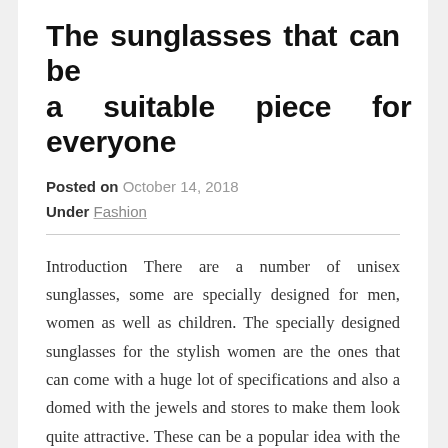The sunglasses that can be a suitable piece for everyone
Posted on October 14, 2018
Under Fashion
Introduction There are a number of unisex sunglasses, some are specially designed for men, women as well as children. The specially designed sunglasses for the stylish women are the ones that can come with a huge lot of specifications and also a domed with the jewels and stores to make them look quite attractive. These can be a popular idea with the use of the